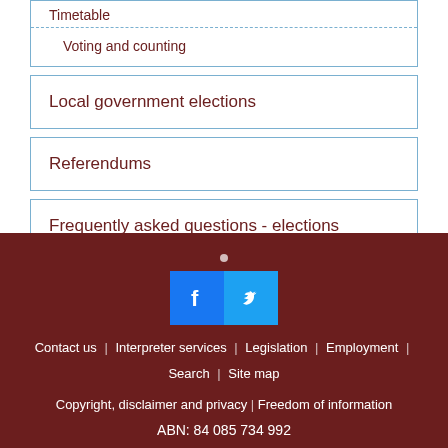Timetable
Voting and counting
Local government elections
Referendums
Frequently asked questions - elections
Contact us | Interpreter services | Legislation | Employment | Search | Site map
Copyright, disclaimer and privacy | Freedom of information
ABN: 84 085 734 992